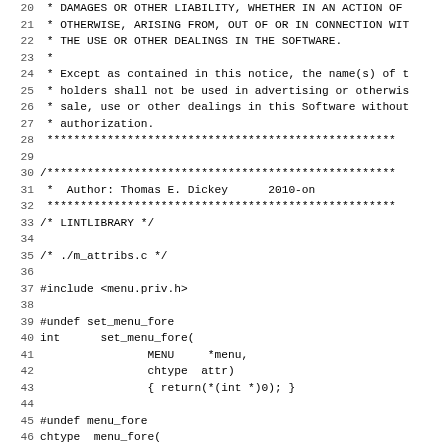Source code listing (C), lines 20-51, showing license comment block and function declarations for set_menu_fore, menu_fore, and set_menu_back from m_attribs.c